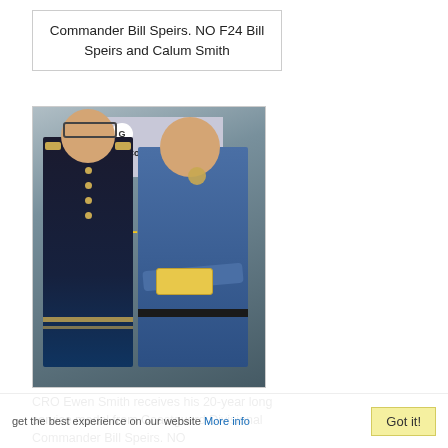Commander Bill Speirs. NO F24 Bill Speirs and Calum Smith
[Figure (photo): Two men standing in front of an HM Coastguard banner. One man on left is in a dark navy naval/coastguard uniform with gold buttons and epaulettes. The man on the right is in a blue coastguard shirt holding a medal or award. Background shows HM Coastguard pull-up banner.]
CRO Ewen Smith receives his 20-year long service medal from Coastguard Divisional Commander Bill Speirs. NO
get the best experience on our website More info